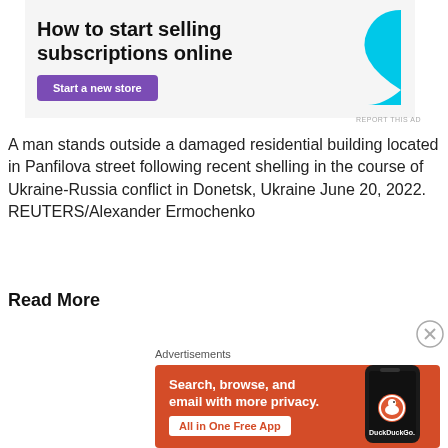[Figure (screenshot): Advertisement banner: 'How to start selling subscriptions online' with purple 'Start a new store' button and cyan graphic shape on the right]
A man stands outside a damaged residential building located in Panfilova street following recent shelling in the course of Ukraine-Russia conflict in Donetsk, Ukraine June 20, 2022. REUTERS/Alexander Ermochenko
Read More
[Figure (screenshot): DuckDuckGo advertisement: 'Search, browse, and email with more privacy. All in One Free App' on orange/red background with phone graphic showing DuckDuckGo app]